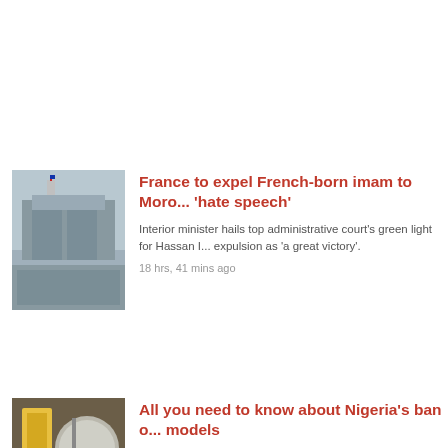[Figure (photo): Photo of a government building with a French flag on top]
France to expel French-born imam to Morocco over 'hate speech'
Interior minister hails top administrative court's green light for Hassan I... expulsion as 'a great victory'.
18 hrs, 41 mins ago
[Figure (photo): Photo of people in a photography studio with a large globe light]
All you need to know about Nigeria's ban on models
The ban seeks to foster 'local talent' and grow the country's advertising...
18 hrs, 33 mins ago
[Figure (photo): Photo related to Iraq conflict]
Timeline: What led to the fighting in Iraq's...